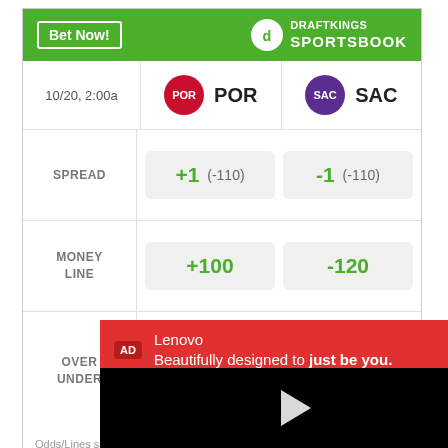[Figure (screenshot): DraftKings Sportsbook widget showing odds for POR vs SAC game on 10/20 at 2:00a. Spread: POR +1 (-110), SAC -1 (-110). Money Line: POR +100, SAC -120. Over/Under: >224 (-110) and <224 (-110).]
Odds/Lines subject to change. See draftkings.com for details.
AD Lenovo Beautifully designed to just be you.
[Figure (screenshot): Black video player area with white play button triangle]